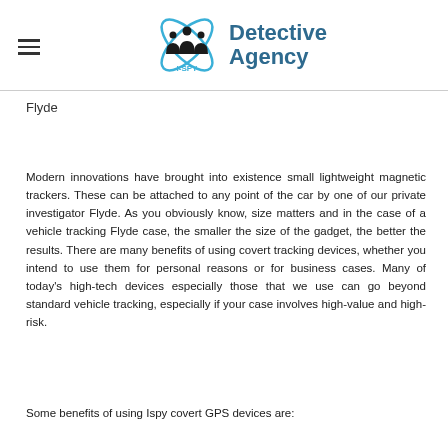I-SPY Detective Agency
Flyde
Modern innovations have brought into existence small lightweight magnetic trackers. These can be attached to any point of the car by one of our private investigator Flyde. As you obviously know, size matters and in the case of a vehicle tracking Flyde case, the smaller the size of the gadget, the better the results. There are many benefits of using covert tracking devices, whether you intend to use them for personal reasons or for business cases. Many of today's high-tech devices especially those that we use can go beyond standard vehicle tracking, especially if your case involves high-value and high-risk.
Some benefits of using Ispy covert GPS devices are: